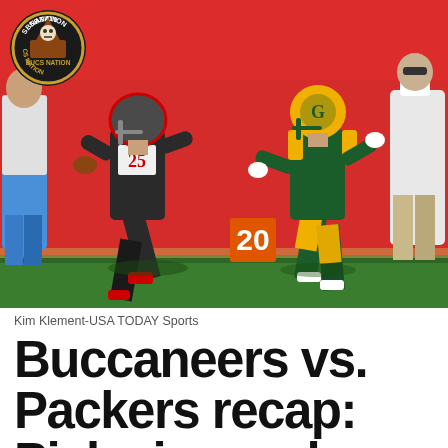[Figure (photo): Action photo of a Tampa Bay Buccaneers player running with the football, being pursued by a Green Bay Packers player in green and yellow uniform, against a red stadium wall background. SBNation Bucs Nation logo overlay in top-left corner.]
Kim Klement-USA TODAY Sports
Buccaneers vs. Packers recap: Pick six sparks